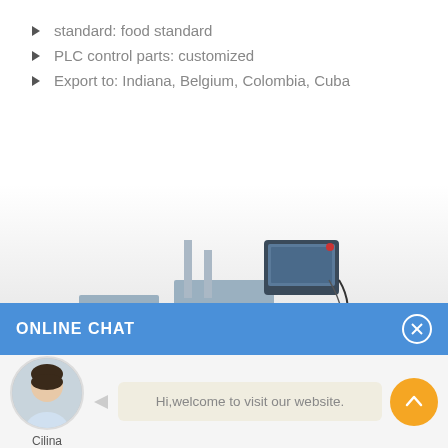standard: food standard
PLC control parts: customized
Export to: Indiana, Belgium, Colombia, Cuba
[Figure (photo): Industrial labeling machine on a conveyor belt with a PLC control screen on top, shown against a light gray gradient background.]
ONLINE CHAT
[Figure (photo): Avatar photo of a woman named Cilina in a blue/white shirt.]
Hi,welcome to visit our website.